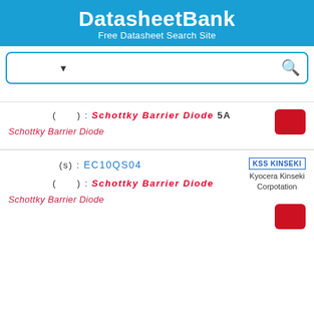DatasheetBank
Free Datasheet Search Site
[Figure (screenshot): Search bar with dropdown selector (Korean placeholder text), text input field (Korean placeholder text), and search icon]
컴포넌트(영문) : Schottky Barrier Diode 5A
Schottky Barrier Diode
부품번호(s) : EC10QS04
제조업체(영문) : Schottky Barrier Diode
Schottky Barrier Diode
Kyocera Kinseki Corpotation